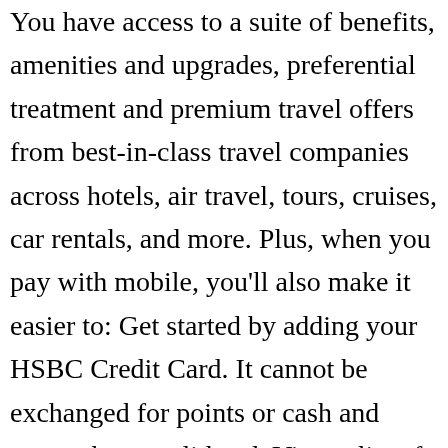You have access to a suite of benefits, amenities and upgrades, preferential treatment and premium travel offers from best-in-class travel companies across hotels, air travel, tours, cruises, car rentals, and more. Plus, when you pay with mobile, you'll also make it easier to: Get started by adding your HSBC Credit Card. It cannot be exchanged for points or cash and cannot be re-validated. View a list of all our currently running offers. Issuance of the credit card is at the sole discretion of the Bank and is subject to the Bank's internal approval norms. Your card includes a security chip that